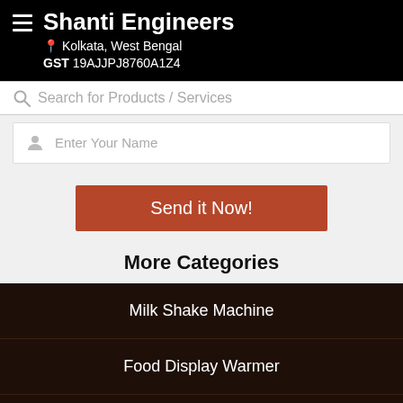Shanti Engineers
Kolkata, West Bengal
GST 19AJJPJ8760A1Z4
Search for Products / Services
Enter Your Name
Send it Now!
More Categories
Milk Shake Machine
Food Display Warmer
Expresso Coffee Machine New
Deep Frier